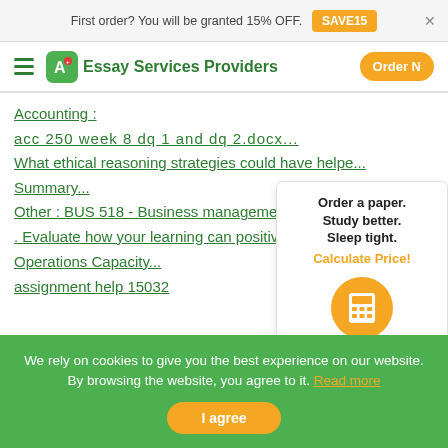First order? You will be granted 15% OFF. SAVE15
Essay Services Providers | Order Now
Accounting :
acc 250 week 8 dq 1 and dq 2.docx...
What ethical reasoning strategies could have helpe...
Summary...
Other : BUS 518 - Business management homework hel...
. Evaluate how your learning can positively affect...
Operations Capacity...
assignment help 15032
Order a paper. Study better. Sleep tight. Calculate Price!
We rely on cookies to give you the best experience on our website. By browsing the website, you agree to it. Read more
I agree